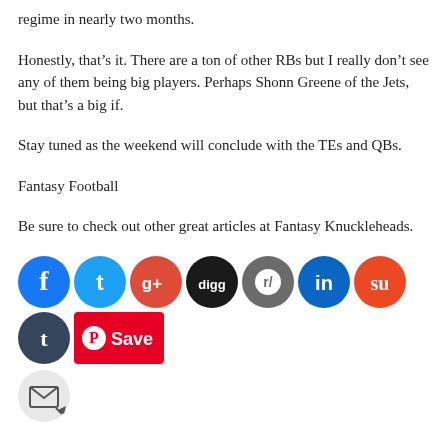regime in nearly two months.
Honestly, that’s it. There are a ton of other RBs but I really don’t see any of them being big players. Perhaps Shonn Greene of the Jets, but that’s a big if.
Stay tuned as the weekend will conclude with the TEs and QBs.
Fantasy Football
Be sure to check out other great articles at Fantasy Knuckleheads.
[Figure (infographic): Row of social media share icons: Facebook, Twitter, Google+, Digg, Reddit, LinkedIn, StumbleUpon, Tumblr, Pinterest Save button, and Email icon below.]